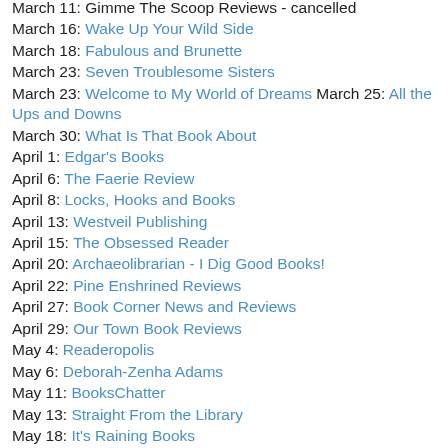March 11: Gimme The Scoop Reviews - cancelled
March 16: Wake Up Your Wild Side
March 18: Fabulous and Brunette
March 23: Seven Troublesome Sisters
March 23: Welcome to My World of Dreams March 25: All the Ups and Downs
March 30: What Is That Book About
April 1: Edgar's Books
April 6: The Faerie Review
April 8: Locks, Hooks and Books
April 13: Westveil Publishing
April 15: The Obsessed Reader
April 20: Archaeolibrarian - I Dig Good Books!
April 22: Pine Enshrined Reviews
April 27: Book Corner News and Reviews
April 29: Our Town Book Reviews
May 4: Readeropolis
May 6: Deborah-Zenha Adams
May 11: BooksChatter
May 13: Straight From the Library
May 18: It's Raining Books
May 20: Lisa's Reading
May 25: Long and Short Reviews